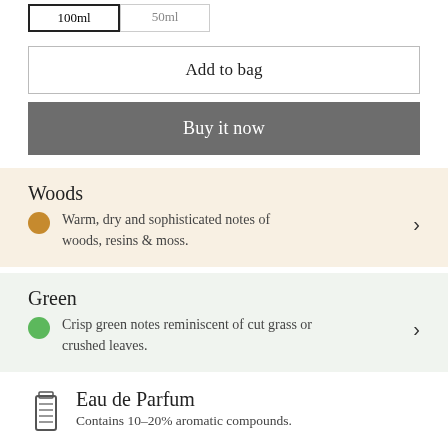100ml (selected), 50ml
Add to bag
Buy it now
Woods
Warm, dry and sophisticated notes of woods, resins & moss.
Green
Crisp green notes reminiscent of cut grass or crushed leaves.
Eau de Parfum
Contains 10–20% aromatic compounds.